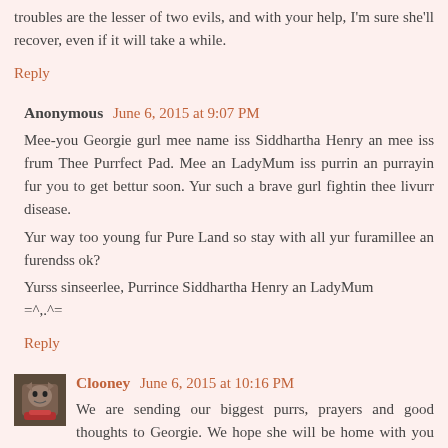troubles are the lesser of two evils, and with your help, I'm sure she'll recover, even if it will take a while.
Reply
Anonymous  June 6, 2015 at 9:07 PM
Mee-you Georgie gurl mee name iss Siddhartha Henry an mee iss frum Thee Purrfect Pad. Mee an LadyMum iss purrin an purrayin fur you to get bettur soon. Yur such a brave gurl fightin thee livurr disease.
Yur way too young fur Pure Land so stay with all yur furamillee an furendss ok?
Yurss sinseerlee, Purrince Siddhartha Henry an LadyMum
=^,.^=
Reply
Clooney  June 6, 2015 at 10:16 PM
We are sending our biggest purrs, prayers and good thoughts to Georgie. We hope she will be home with you and feeling better again very soon.